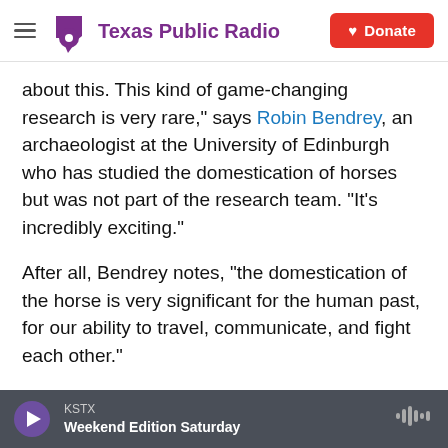Texas Public Radio | Donate
about this. This kind of game-changing research is very rare," says Robin Bendrey, an archaeologist at the University of Edinburgh who has studied the domestication of horses but was not part of the research team. "It's incredibly exciting."
After all, Bendrey notes, "the domestication of the horse is very significant for the human past, for our ability to travel, communicate, and fight each other."
Ludovic Orlando, a researcher at the University of Toulouse in France, says that he and his colleagues
KSTX  Weekend Edition Saturday